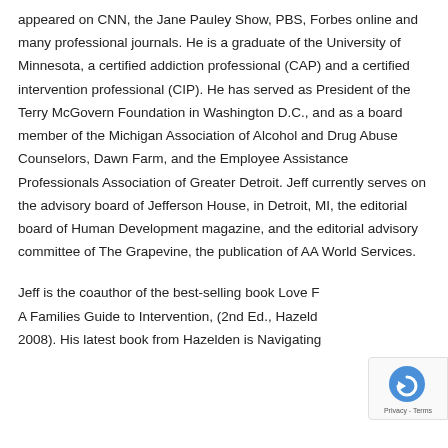appeared on CNN, the Jane Pauley Show, PBS, Forbes online and many professional journals. He is a graduate of the University of Minnesota, a certified addiction professional (CAP) and a certified intervention professional (CIP). He has served as President of the Terry McGovern Foundation in Washington D.C., and as a board member of the Michigan Association of Alcohol and Drug Abuse Counselors, Dawn Farm, and the Employee Assistance Professionals Association of Greater Detroit. Jeff currently serves on the advisory board of Jefferson House, in Detroit, MI, the editorial board of Human Development magazine, and the editorial advisory committee of The Grapevine, the publication of AA World Services.
Jeff is the coauthor of the best-selling book Love F… A Families Guide to Intervention, (2nd Ed., Hazeld… 2008). His latest book from Hazelden is Navigating…